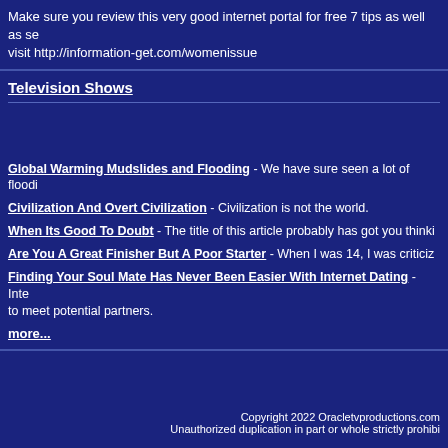Make sure you review this very good internet portal for free 7 tips as well as se... visit http://information-get.com/womenissue
Television Shows
Global Warming Mudslides and Flooding - We have sure seen a lot of floodi...
Civilization And Overt Civilization - Civilization is not the world.
When Its Good To Doubt - The title of this article probably has got you thinki...
Are You A Great Finisher But A Poor Starter - When I was 14, I was criticiz...
Finding Your Soul Mate Has Never Been Easier With Internet Dating - Inte... to meet potential partners.
more...
Copyright 2022 Oracletvproductions.com Unauthorized duplication in part or whole strictly prohibi...